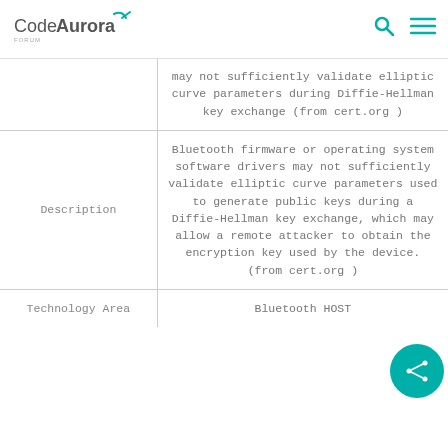CodeAurora Forum
|  | may not sufficiently validate elliptic curve parameters during Diffie-Hellman key exchange (from cert.org ) |
| Description | Bluetooth firmware or operating system software drivers may not sufficiently validate elliptic curve parameters used to generate public keys during a Diffie-Hellman key exchange, which may allow a remote attacker to obtain the encryption key used by the device. (from cert.org ) |
| Technology Area | Bluetooth HOST |